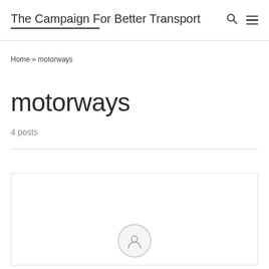The Campaign For Better Transport
Home » motorways
motorways
4 posts
[Figure (other): A card/post preview placeholder with a circular image placeholder icon at the bottom center]